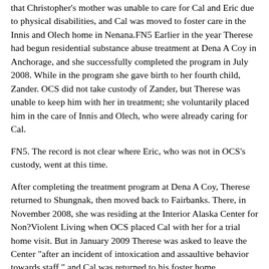that Christopher's mother was unable to care for Cal and Eric due to physical disabilities, and Cal was moved to foster care in the Innis and Olech home in Nenana.FN5 Earlier in the year Therese had begun residential substance abuse treatment at Dena A Coy in Anchorage, and she successfully completed the program in July 2008. While in the program she gave birth to her fourth child, Zander. OCS did not take custody of Zander, but Therese was unable to keep him with her in treatment; she voluntarily placed him in the care of Innis and Olech, who were already caring for Cal.
FN5. The record is not clear where Eric, who was not in OCS's custody, went at this time.
After completing the treatment program at Dena A Coy, Therese returned to Shungnak, then moved back to Fairbanks. There, in November 2008, she was residing at the Interior Alaska Center for Non?Violent Living when OCS placed Cal with her for a trial home visit. But in January 2009 Therese was asked to leave the Center "after an incident of intoxication and assaultive behavior towards staff," and Cal was returned to his foster home